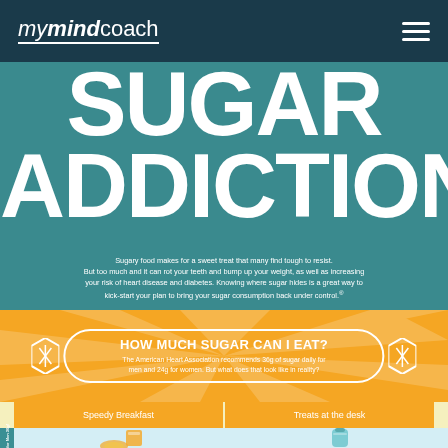mymindcoach
SUGAR ADDICTION
Sugary food makes for a sweet treat that many find tough to resist. But too much and it can rot your teeth and bump up your weight, as well as increasing your risk of heart disease and diabetes. Knowing where sugar hides is a great way to kick-start your plan to bring your sugar consumption back under control.
HOW MUCH SUGAR CAN I EAT?
The American Heart Association recommends 36g of sugar daily for men and 24g for women. But what does that look like in reality?
Speedy Breakfast
Treats at the desk
e for Men 36g!